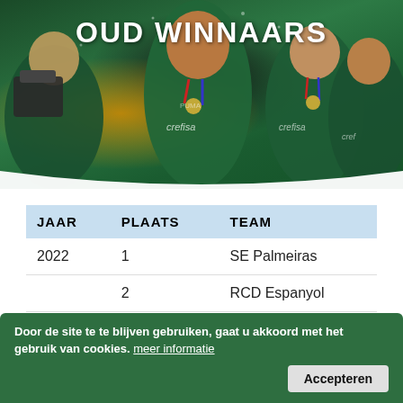[Figure (photo): Football players in green Palmeiras jerseys celebrating with a trophy, wearing medals with red-white-blue ribbons.]
OUD WINNAARS
| JAAR | PLAATS | TEAM |
| --- | --- | --- |
| 2022 | 1 | SE Palmeiras |
|  | 2 | RCD Espanyol |
|  | 3 | NAC Breda |
| 2019 | 1 | Valencia |
|  | 2 | Panathinaikos |
Door de site te te blijven gebruiken, gaat u akkoord met het gebruik van cookies. meer informatie